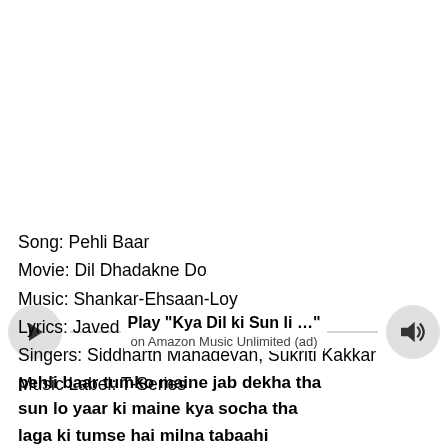[Figure (screenshot): Music player widget with play button on left, volume/speaker button on right, title 'Play "Kya Dil ki Sun li ..."' and subtitle 'on Amazon Music Unlimited (ad)' in center, with a horizontal line behind the text]
Song: Pehli Baar
Movie: Dil Dhadakne Do
Music: Shankar-Ehsaan-Loy
Lyrics: Javed Akhtar
Singers: Siddharth Mahadevan, Sukriti Kakkar
Music Label: T-Series
pehli baar tumko maine jab dekha tha
sun lo yaar ki maine kya socha tha
laga ki tumse hai milna tabaahi
is dil ko hi samjhaane maine kahaa
is raste na jaana kabhi raahi
ye tere liye hai hi nahi